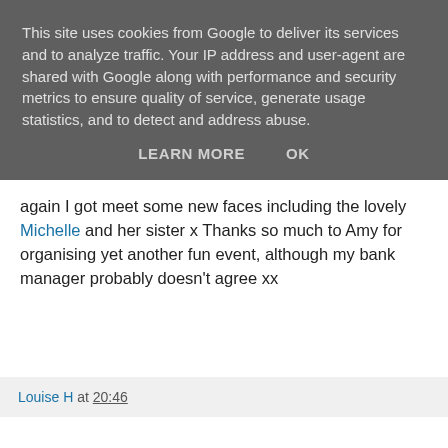This site uses cookies from Google to deliver its services and to analyze traffic. Your IP address and user-agent are shared with Google along with performance and security metrics to ensure quality of service, generate usage statistics, and to detect and address abuse.
LEARN MORE   OK
again I got meet some new faces including the lovely Michelle and her sister x Thanks so much to Amy for organising yet another fun event, although my bank manager probably doesn't agree xx
Louise H at 20:46
4 comments:
Unknown 30 June 2013 at 22:31
Was lovely to finally meet you too hun and thanks for the mention - really appreciate it x